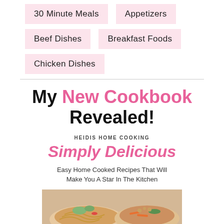30 Minute Meals
Appetizers
Beef Dishes
Breakfast Foods
Chicken Dishes
My New Cookbook Revealed!
HEIDIS HOME COOKING
Simply Delicious
Easy Home Cooked Recipes That Will Make You A Star In The Kitchen
[Figure (photo): Photo of food dishes including noodles and vegetables]